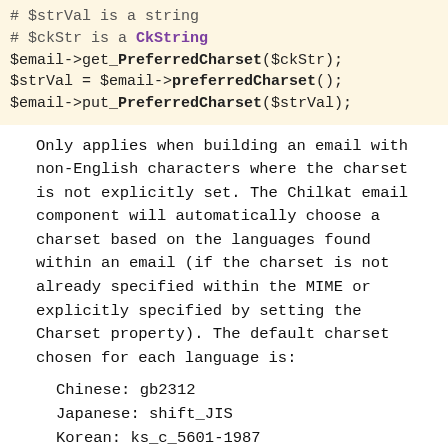# $strVal is a string
# $ckStr is a CkString
$email->get_PreferredCharset($ckStr);
$strVal = $email->preferredCharset();
$email->put_PreferredCharset($strVal);
Only applies when building an email with non-English characters where the charset is not explicitly set. The Chilkat email component will automatically choose a charset based on the languages found within an email (if the charset is not already specified within the MIME or explicitly specified by setting the Charset property). The default charset chosen for each language is:
Chinese: gb2312
Japanese: shift_JIS
Korean: ks_c_5601-1987
Thai: windows-874
All others: iso-8859-*
This allows for charsets such as iso-2022-jp to be